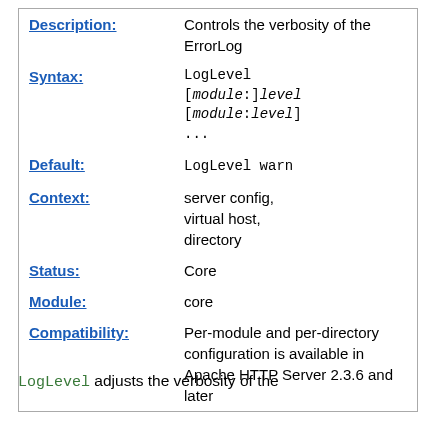| Field | Value |
| --- | --- |
| Description: | Controls the verbosity of the ErrorLog |
| Syntax: | LogLevel [module:]level [module:level] ... |
| Default: | LogLevel warn |
| Context: | server config, virtual host, directory |
| Status: | Core |
| Module: | core |
| Compatibility: | Per-module and per-directory configuration is available in Apache HTTP Server 2.3.6 and later |
LogLevel adjusts the verbosity of the